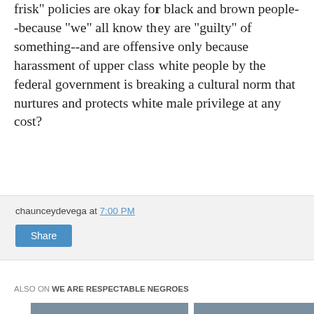frisk" policies are okay for black and brown people--because "we" all know they are "guilty" of something--and are offensive only because harassment of upper class white people by the federal government is breaking a cultural norm that nurtures and protects white male privilege at any cost?
chaunceydevega at 7:00 PM
Share
ALSO ON WE ARE RESPECTABLE NEGROES
[Figure (other): Two article preview cards side by side on a grey background. Left card shows a user avatar silhouette, text 'rs ago • 1 comment', title 'The online home of Chauncey DeVega: The ...'. Right card shows a user avatar silhouette, text '4 years ago • 2 comments', title 'The online home of Chauncey DeVega: A...'. Navigation arrows on left and right sides.]